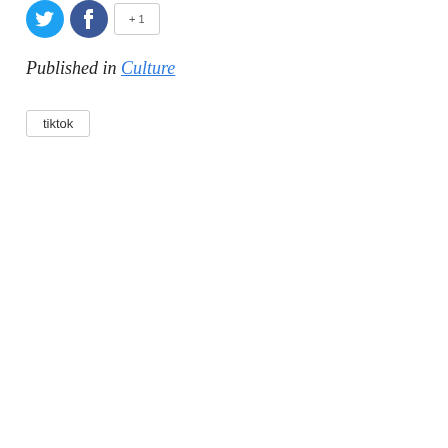[Figure (other): Social sharing icons: two circular blue icons (Twitter and Facebook) and a rectangular share button]
Published in Culture
tiktok